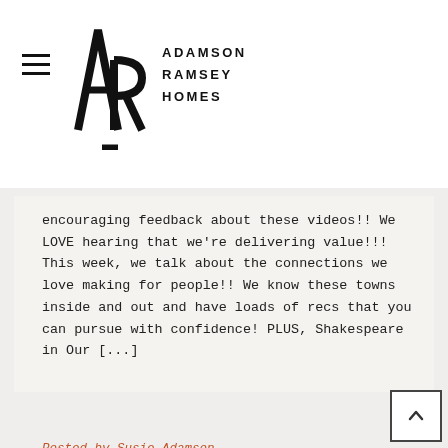ADAMSON RAMSEY HOMES
encouraging feedback about these videos!! We LOVE hearing that we're delivering value!!! This week, we talk about the connections we love making for people!! We know these towns inside and out and have loads of recs that you can pursue with confidence! PLUS, Shakespeare in Our [...]
Posted by Susie Adamson